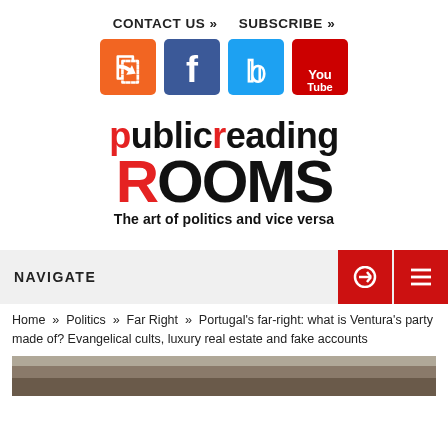CONTACT US »   SUBSCRIBE »
[Figure (infographic): Social media icons: RSS (orange), Facebook (blue), Twitter (light blue), YouTube (red)]
publicreading ROOMS — The art of politics and vice versa
NAVIGATE
Home » Politics » Far Right » Portugal's far-right: what is Ventura's party made of? Evangelical cults, luxury real estate and fake accounts
[Figure (photo): Partial photo of a person at the bottom of the page]